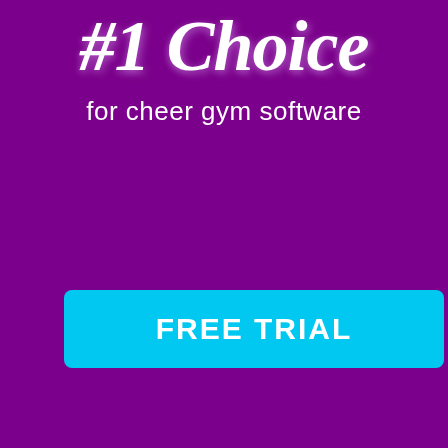#1 Choice
for cheer gym software
FREE TRIAL